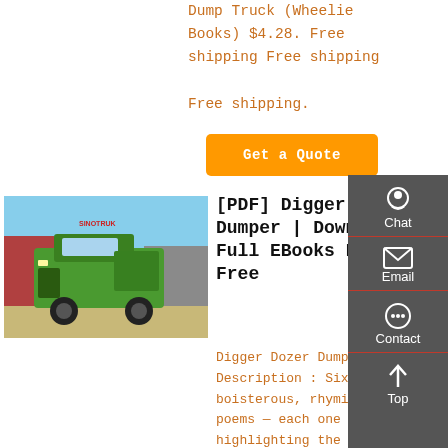Dump Truck (Wheelie Books) $4.28. Free shipping Free shipping Free shipping.
[Figure (other): Orange 'Get a Quote' button]
[Figure (photo): Green Sinotruk dump truck parked in a yard, front view, with other trucks in background]
[PDF] Digger Dozer Dumper | Download Full EBooks For Free
Digger Dozer Dumper Description : Sixteen boisterous, rhyming poems — each one highlighting the job and